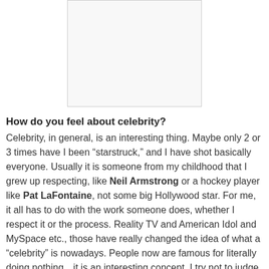[Figure (other): A white/blank rectangular image placeholder with a light gray border]
How do you feel about celebrity?
Celebrity, in general, is an interesting thing. Maybe only 2 or 3 times have I been “starstruck,” and I have shot basically everyone. Usually it is someone from my childhood that I grew up respecting, like Neil Armstrong or a hockey player like Pat LaFontaine, not some big Hollywood star. For me, it all has to do with the work someone does, whether I respect it or the process. Reality TV and American Idol and MySpace etc., those have really changed the idea of what a “celebrity” is nowadays. People now are famous for literally doing nothing…it is an interesting concept. I try not to judge, but before, to become famous, there had to be something of